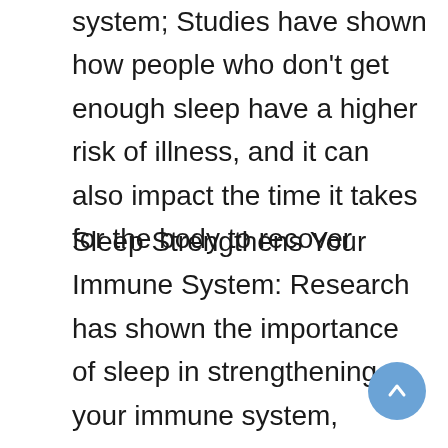system; Studies have shown how people who don't get enough sleep have a higher risk of illness, and it can also impact the time it takes for the body to recover
Sleep Strengthens Your Immune System: Research has shown the importance of sleep in strengthening your immune system, improving mental sharpness, maintaining balanced moods and so much more; Natrol Melatonin is a solution for occasional sleeplessness
Drug Free: Natrol Melatonin is a nighttime sleep aid that assists with occasional sleeplessness; It is non-habit forming, so you can use it with confidence